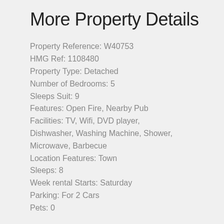More Property Details
Property Reference: W40753
HMG Ref: 1108480
Property Type: Detached
Number of Bedrooms: 5
Sleeps Suit: 9
Features: Open Fire, Nearby Pub
Facilities: TV, Wifi, DVD player, Dishwasher, Washing Machine, Shower, Microwave, Barbecue
Location Features: Town
Sleeps: 8
Week rental Starts: Saturday
Parking: For 2 Cars
Pets: 0